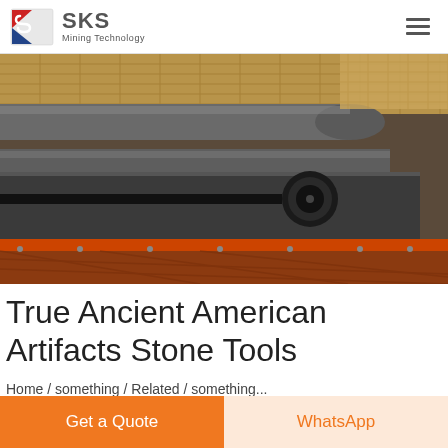SKS Mining Technology
[Figure (photo): Industrial mining conveyor belt machinery photographed from below, showing large cylindrical rollers, steel frame structure, and orange mesh/rubber belt material. Overhead lighting visible in background.]
True Ancient American Artifacts Stone Tools
Home / something / Related / something...
Get a Quote
WhatsApp